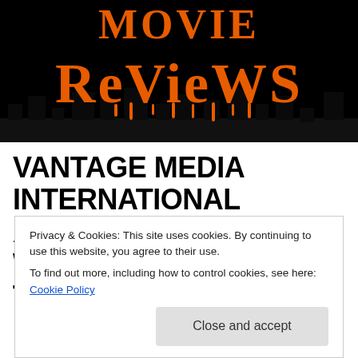[Figure (logo): Movie Reviews logo with orange dripping horror-style text on black background. Top text partially visible, 'ReVieWS' visible in orange dripping font.]
VANTAGE MEDIA INTERNATIONAL ACQUIRES WORLDWIDE RIGHTS TO BENETONE HILL IN
Privacy & Cookies: This site uses cookies. By continuing to use this website, you agree to their use.
To find out more, including how to control cookies, see here: Cookie Policy
Close and accept